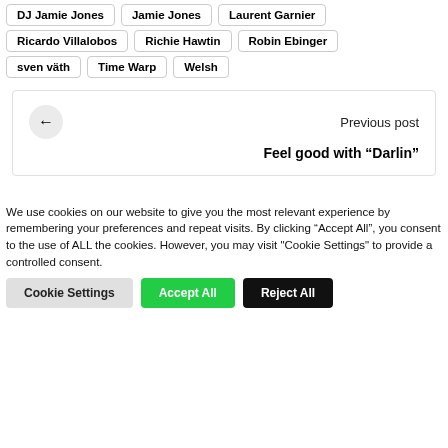DJ Jamie Jones
Jamie Jones
Laurent Garnier
Ricardo Villalobos
Richie Hawtin
Robin Ebinger
sven väth
Time Warp
Welsh
Previous post
Feel good with "Darlin"
We use cookies on our website to give you the most relevant experience by remembering your preferences and repeat visits. By clicking "Accept All", you consent to the use of ALL the cookies. However, you may visit "Cookie Settings" to provide a controlled consent.
Cookie Settings  Accept All  Reject All